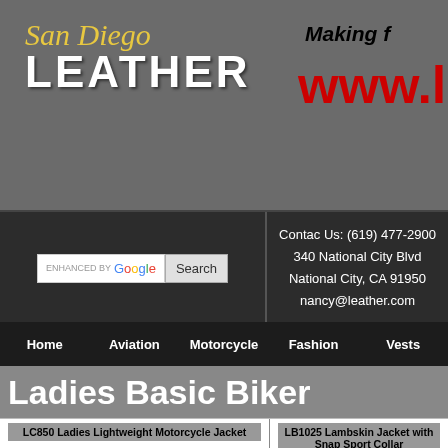[Figure (logo): San Diego Leather logo with yellow italic script 'San Diego' above bold white 'LEATHER' text on gray background]
Making f... www.l...
Contac Us: (619) 477-2900
340 National City Blvd
National City, CA 91950
nancy@leather.com
Home   Aviation   Motorcycle   Fashion   Vests
Ladies Basic Biker
LC850 Ladies Lightweight Motorcycle Jacket
LB1025 Lambskin Jacket with Snap Sport Collar